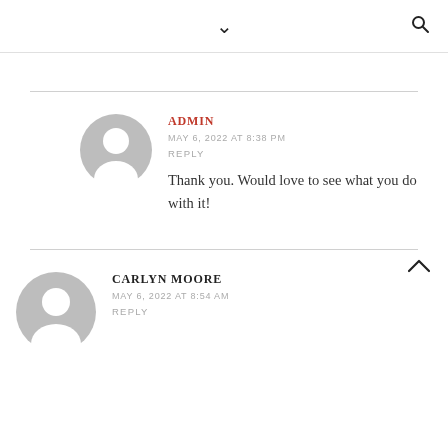∨  🔍
ADMIN
MAY 6, 2022 AT 8:38 PM
REPLY
Thank you. Would love to see what you do with it!
CARLYN MOORE
MAY 6, 2022 AT 8:54 AM
REPLY